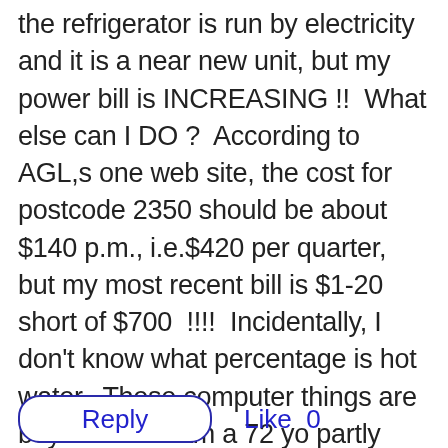the refrigerator is run by electricity and it is a near new unit, but my power bill is INCREASING !!  What else can I DO ?  According to AGL,s one web site, the cost for postcode 2350 should be about $140 p.m., i.e.$420 per quarter, but my most recent bill is $1-20 short of $700  !!!!  Incidentally, I don't know what percentage is hot water.  These computer things are beyond me. I am a 72 yo partly physically disabled Pensioner.  I would like to live at least CLEAN.
Reply   Like 0